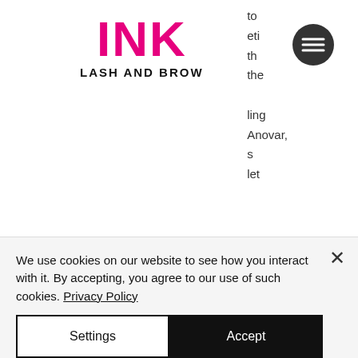INK
LASH AND BROW
to
eti
th
the

ling
Anovar,
s
let
twice daily of Anovar twice- a day, anvarol for sale. In addition, athletes who have taken Anavar with regularity are recommended to use a product called Anavar Sport; in an attempt to protect themselves it is
We use cookies on our website to see how you interact with it. By accepting, you agree to our use of such cookies. Privacy Policy
Settings
Accept